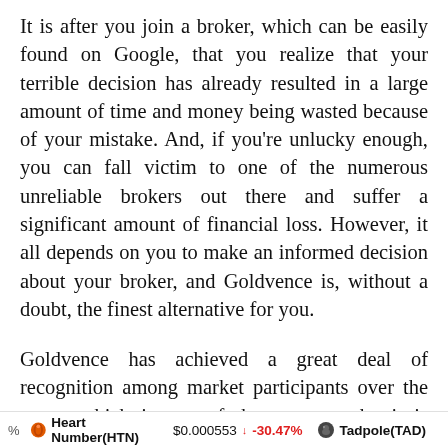It is after you join a broker, which can be easily found on Google, that you realize that your terrible decision has already resulted in a large amount of time and money being wasted because of your mistake. And, if you're unlucky enough, you can fall victim to one of the numerous unreliable brokers out there and suffer a significant amount of financial loss. However, it all depends on you to make an informed decision about your broker, and Goldvence is, without a doubt, the finest alternative for you.
Goldvence has achieved a great deal of recognition among market participants over the years, which is one of the reasons why it is currently ranked among the best broker businesses in the
% Heart Number(HTN) $0.000553 ↓ -30.47% Tadpole(TAD)